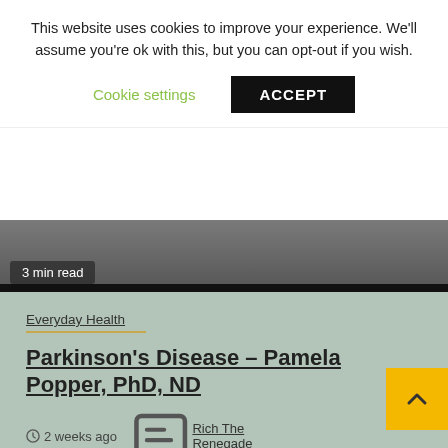This website uses cookies to improve your experience. We'll assume you're ok with this, but you can opt-out if you wish.
Cookie settings  ACCEPT
[Figure (photo): Partially visible image of a person's face, with a dark bar at the bottom. Badge reads '3 min read'.]
Everyday Health
Parkinson's Disease – Pamela Popper, PhD, ND
2 weeks ago   Rich The Renegade
https://www.youtube.com/watch?v=Asqtm66yXrU New 2022 - Parkinson's Disease - Pamela Popper, PhD, ND Pamela A. Popper, PhD, N.D. • https://drpampopper.co Book...